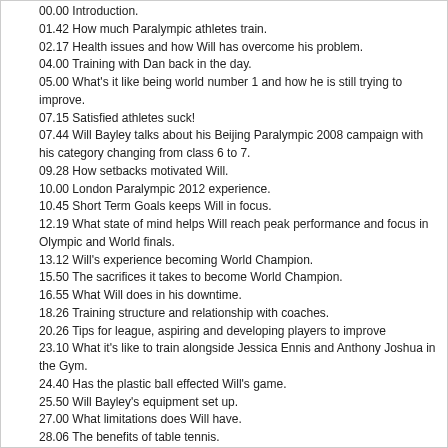00.00 Introduction.
01.42 How much Paralympic athletes train.
02.17 Health issues and how Will has overcome his problem.
04.00 Training with Dan back in the day.
05.00 What's it like being world number 1 and how he is still trying to improve.
07.15 Satisfied athletes suck!
07.44 Will Bayley talks about his Beijing Paralympic 2008 campaign with his category changing from class 6 to 7.
09.28 How setbacks motivated Will.
10.00 London Paralympic 2012 experience.
10.45 Short Term Goals keeps Will in focus.
12.19 What state of mind helps Will reach peak performance and focus in Olympic and World finals.
13.12 Will's experience becoming World Champion.
15.50 The sacrifices it takes to become World Champion.
16.55 What Will does in his downtime.
18.26 Training structure and relationship with coaches.
20.26 Tips for league, aspiring and developing players to improve
23.10 What it's like to train alongside Jessica Ennis and Anthony Joshua in the Gym.
24.40 Has the plastic ball effected Will's game.
25.50 Will Bayley's equipment set up.
27.00 What limitations does Will have.
28.06 The benefits of table tennis.
28.55 What Will and his psychologist work on. Performance vs Outcome goals.
34.10 Will's rivals and video analysis.
38.20 The importance of Will's Parental support.
39.08 Future goals and plans.
41.40 Who is the most famous person Will has met.
42.26 Nutrition.
44.55 Favorite player to watch.
If you would like to save or listen to the podcast on itunes, search TableTennisDaily in the itunes store. If you are an android user you can download the Stitcher app and search for TableTennisDaily.
Thanks for listening!